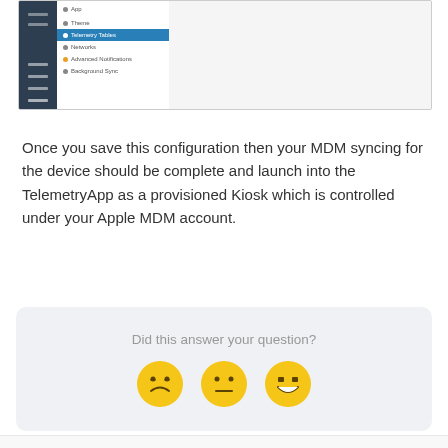[Figure (screenshot): Screenshot of a software UI showing a dark sidebar on the left, a menu panel with 'Telemetry Tables' item highlighted in blue, and a red arrow pointing to the highlighted menu item. The content area to the right shows a light grey background.]
Once you save this configuration then your MDM syncing for the device should be complete and launch into the TelemetryApp as a provisioned Kiosk which is controlled under your Apple MDM account.
[Figure (infographic): Feedback widget with the text 'Did this answer your question?' and three emoji faces: a sad/disappointed face, a neutral face, and a happy/smiling face.]